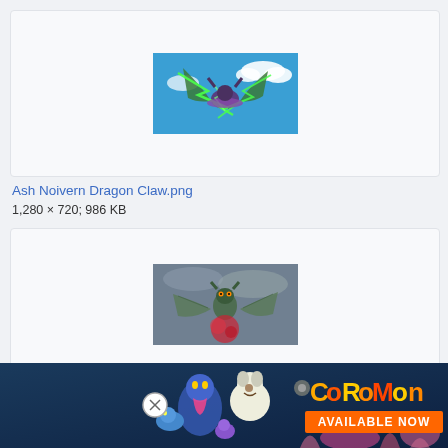[Figure (screenshot): Anime screenshot showing Ash's Noivern using Dragon Claw, green lightning energy effect on blue sky with clouds]
Ash Noivern Dragon Claw.png
1,280 × 720; 986 KB
[Figure (screenshot): Anime screenshot showing Noivern in battle, dark stormy background with red energy effect]
As...
1,280
[Figure (illustration): Coromon game advertisement banner showing colorful creature characters with text COROMON AVAILABLE NOW]